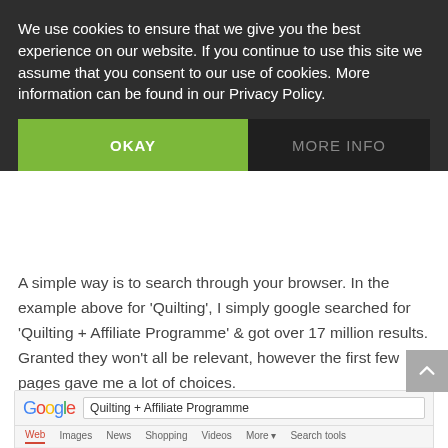We use cookies to ensure that we give you the best experience on our website. If you continue to use this site we assume that you consent to our use of cookies. More information can be found in our Privacy Policy.
OKAY
MORE INFO
A simple way is to search through your browser. In the example above for ‘Quilting’, I simply google searched for ‘Quilting + Affiliate Programme’ & got over 17 million results. Granted they won’t all be relevant, however the first few pages gave me a lot of choices.
[Figure (screenshot): Google search results screenshot showing search query 'Quilting + Affiliate Programme' with about 17,600,000 results and first result 'Affiliate Program - Free-Quilting.com']